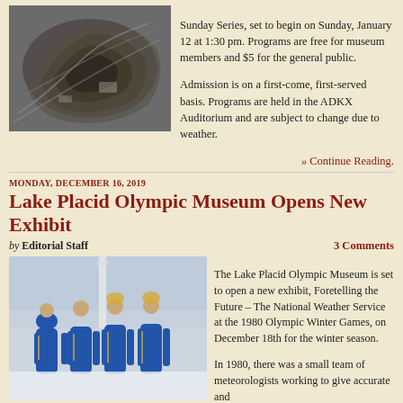[Figure (photo): Aerial view of an open-pit mine with winding roads carved into the rock]
Sunday Series, set to begin on Sunday, January 12 at 1:30 pm. Programs are free for museum members and $5 for the general public.

Admission is on a first-come, first-served basis. Programs are held in the ADKX Auditorium and are subject to change due to weather.
» Continue Reading.
MONDAY, DECEMBER 16, 2019
Lake Placid Olympic Museum Opens New Exhibit
by Editorial Staff
3 Comments
[Figure (photo): Four people in blue winter jackets standing together in a snowy outdoor setting]
The Lake Placid Olympic Museum is set to open a new exhibit, Foretelling the Future – The National Weather Service at the 1980 Olympic Winter Games, on December 18th for the winter season.

In 1980, there was a small team of meteorologists working to give accurate and